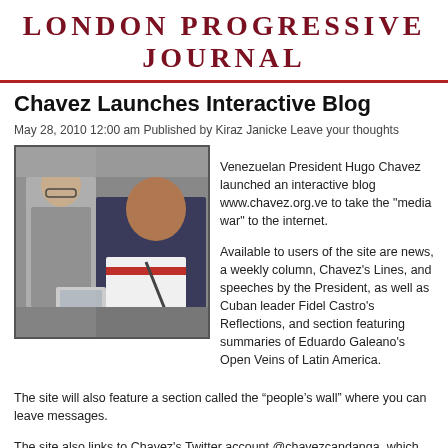London Progressive Journal
Chavez Launches Interactive Blog
May 28, 2010 12:00 am Published by Kiraz Janicke Leave your thoughts
[Figure (photo): Photo of Venezuelan President Hugo Chavez at a podium holding a document, with another man in the background]
Venezuelan President Hugo Chavez launched an interactive blog www.chavez.org.ve to take the "media war" to the internet. Available to users of the site are news, a weekly column, Chavez's Lines, and speeches by the President, as well as Cuban leader Fidel Castro's Reflections, and section featuring summaries of Eduardo Galeano's Open Veins of Latin America.
The site will also feature a section called the “people’s wall” where you can leave messages.
The site also links to Chavez's Twitter account @chavezcandanga, which has gained more followers in recent weeks, making him the most followed Latin American leader and the most followed Venezuelan.
In response to the huge number of messages Chavez has been receiving following the launch, he announced the creation of a special program, Mission ChavezCandanga, staffed by 200 people to deal with.
Radio, television, print & web-based media have become hotly contested battlegrounds in Venezuela, where the private media corporations either directly participated in or indirectly supported a 2002